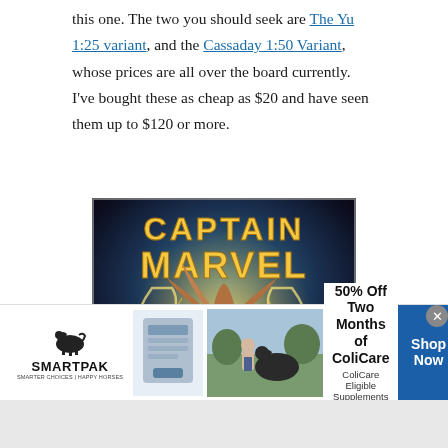this one. The two you should seek are The Yu 1:25 variant, and the Cassaday 1:50 Variant, whose prices are all over the board currently. I've bought these as cheap as $20 and have seen them up to $120 or more.
[Figure (illustration): Captain Marvel comic book cover art showing Captain Marvel character with flowing hair and golden energy swirls, with the title 'CAPTAIN MARVEL' in large yellow letters at the top.]
[Figure (infographic): SmartPak advertisement banner: SmartPak logo with horse, product image, photo of person with horse, text '50% Off Two Months of ColiCare, ColiCare Eligible Supplements, CODE: COLICARE10', and a blue 'Shop Now' button.]